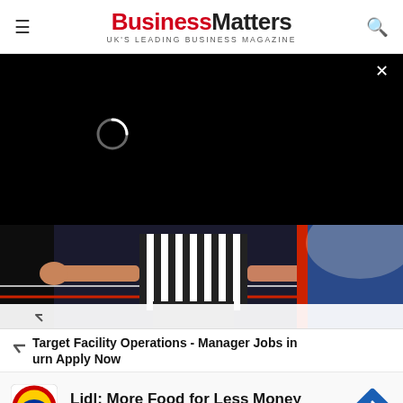BusinessMatters UK'S LEADING BUSINESS MAGAZINE
[Figure (screenshot): Black video overlay with loading spinner and close button (×)]
[Figure (photo): Person wearing black and white striped referee shirt with arms outstretched, boxing ring ropes visible]
Target Facility Operations - Manager Jobs in Turn Apply Now
[Figure (other): Lidl advertisement: Lidl logo, text 'Lidl: More Food for Less Money', 'Lidl', navigation icon]